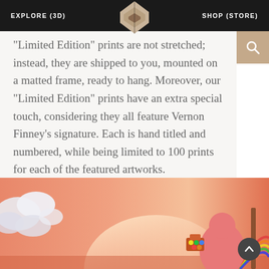EXPLORE (3D)   SHOP (STORE)
"Limited Edition" prints are not stretched; instead, they are shipped to you, mounted on a matted frame, ready to hang. Moreover, our "Limited Edition" prints have an extra special touch, considering they all feature Vernon Finney's signature. Each is hand titled and numbered, while being limited to 100 prints for each of the featured artworks.
[Figure (illustration): Partial view of colorful artwork showing a warm orange-pink sky with clouds on the left, and stylized cartoon-like figures on the right holding objects including what appears to be a rainbow element.]